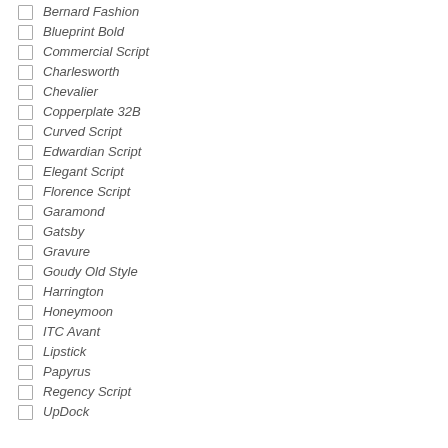Bernard Fashion
Blueprint Bold
Commercial Script
Charlesworth
Chevalier
Copperplate 32B
Curved Script
Edwardian Script
Elegant Script
Florence Script
Garamond
Gatsby
Gravure
Goudy Old Style
Harrington
Honeymoon
ITC Avant
Lipstick
Papyrus
Regency Script
UpDock